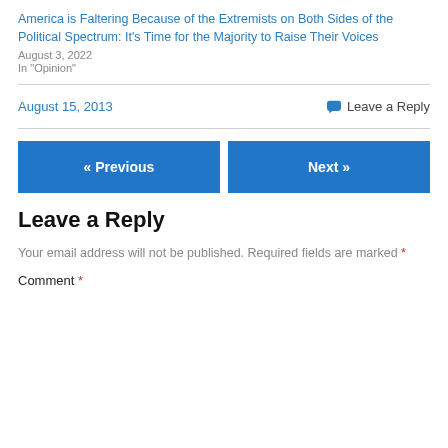America is Faltering Because of the Extremists on Both Sides of the Political Spectrum: It’s Time for the Majority to Raise Their Voices
August 3, 2022
In "Opinion"
August 15, 2013
💬 Leave a Reply
« Previous
Next »
Leave a Reply
Your email address will not be published. Required fields are marked *
Comment *